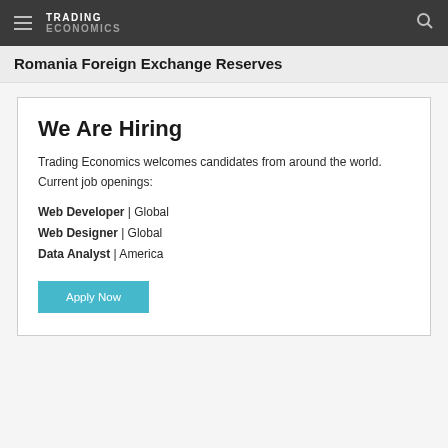TRADING ECONOMICS
Romania Foreign Exchange Reserves
We Are Hiring
Trading Economics welcomes candidates from around the world. Current job openings:
Web Developer | Global
Web Designer | Global
Data Analyst | America
Apply Now